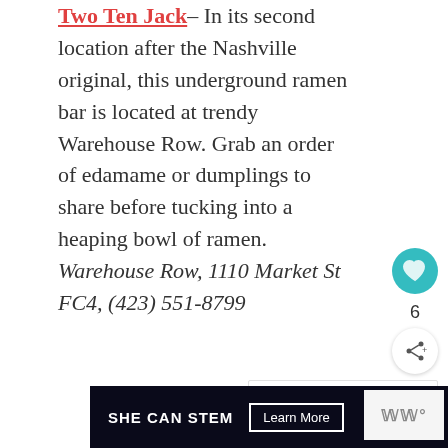Two Ten Jack– In its second location after the Nashville original, this underground ramen bar is located at trendy Warehouse Row. Grab an order of edamame or dumplings to share before tucking into a heaping bowl of ramen. Warehouse Row, 1110 Market St FC4, (423) 551-8799
[Figure (other): Teal circular heart/favorite button]
6
[Figure (other): Share button (circle with share icon)]
[Figure (other): What's Next panel with circular thumbnail image and text: WHAT'S NEXT → Family Friendly Gui...]
[Figure (other): reCAPTCHA logo partial]
[Figure (other): SHE CAN STEM advertisement banner with Learn More button on dark background]